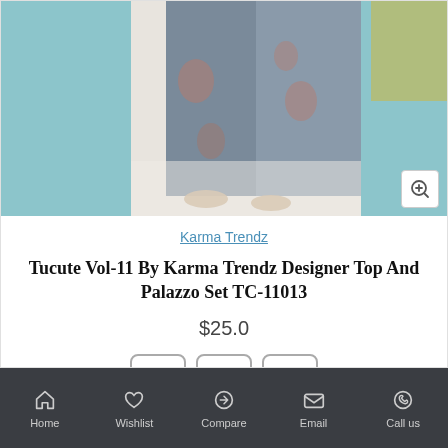[Figure (photo): Product photo showing bottom half of person wearing grey/teal floral palazzo pants and sandals, with teal curtain/backdrop on sides]
Karma Trendz
Tucute Vol-11 By Karma Trendz Designer Top And Palazzo Set TC-11013
$25.0
[Figure (other): Three action icon buttons: shopping bag (add to cart), heart (wishlist), compare arrows (compare)]
2-3 Days
Home  Wishlist  Compare  Email  Call us